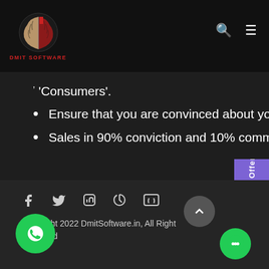[Figure (logo): DMIT Software logo - brain icon split red and tan halves with text DMIT SOFTWARE below]
'Consumers'.
Ensure that you are convinced about your own product.
Sales in 90% conviction and 10% communication.
Copyright 2022 DmitSoftware.in, All Right Reserved